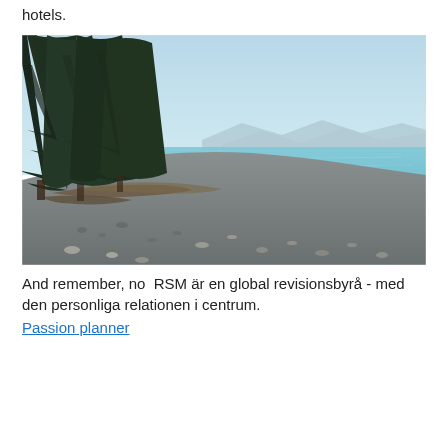hotels.
[Figure (photo): A rocky/pebble beach with driftwood and tall evergreen trees on the left side, calm blue-teal water in the middle distance, and hazy mountains on the far horizon under a pale blue sky.]
And remember, no  RSM är en global revisionsbyrå - med den personliga relationen i centrum.
Passion planner